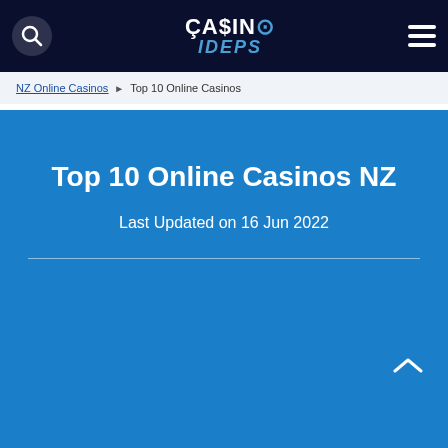CASINO IDEPS — navigation header with search icon, logo, and hamburger menu
NZ Online Casinos ▶ Top 10 Online Casinos
Top 10 Online Casinos NZ
Last Updated on 16 Jun 2022